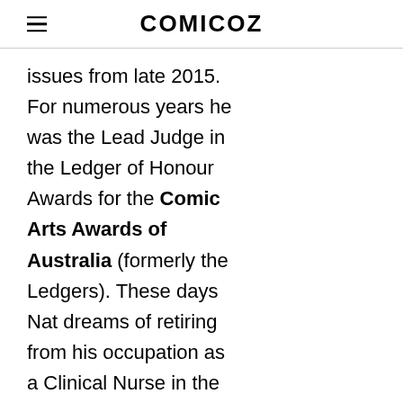COMICOZ
issues from late 2015. For numerous years he was the Lead Judge in the Ledger of Honour Awards for the Comic Arts Awards of Australia (formerly the Ledgers). These days Nat dreams of retiring from his occupation as a Clinical Nurse in the Psychiatric